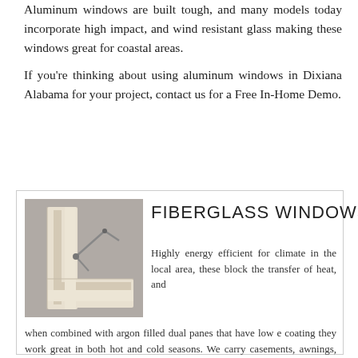Aluminum windows are built tough, and many models today incorporate high impact, and wind resistant glass making these windows great for coastal areas.
If you're thinking about using aluminum windows in Dixiana Alabama for your project, contact us for a Free In-Home Demo.
[Figure (illustration): A fiberglass window frame cross-section illustration showing the corner of a window frame in off-white/beige color with visible hardware/mechanism detail against a gray background.]
FIBERGLASS WINDOWS
Highly energy efficient for climate in the local area, these block the transfer of heat, and when combined with argon filled dual panes that have low e coating they work great in both hot and cold seasons. We carry casements, awnings, double hung, bays & bows, aluminum storm windows for Dixiana Alabama suitable for any replacement project.